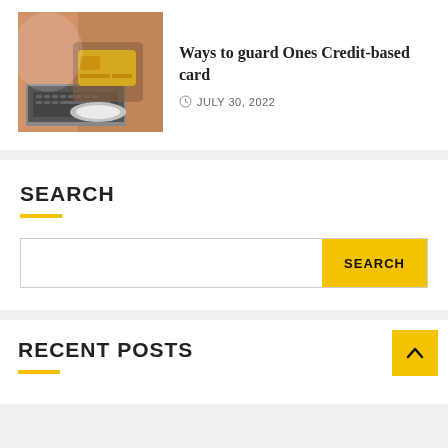[Figure (photo): Person holding a credit card near a laptop, with warm background lighting]
Ways to guard Ones Credit-based card
JULY 30, 2022
SEARCH
Search input and button
RECENT POSTS